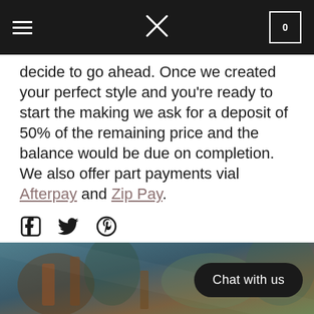Navigation header with hamburger menu, X logo, and cart icon showing 0
decide to go ahead. Once we created your perfect style and you're ready to start the making we ask for a deposit of 50% of the remaining price and the balance would be due on completion. We also offer part payments vial Afterpay and Zip Pay.
[Figure (other): Social sharing icons: Facebook, Twitter, Pinterest]
[Figure (photo): Bottom photo strip showing outdoor scene with people]
Chat with us